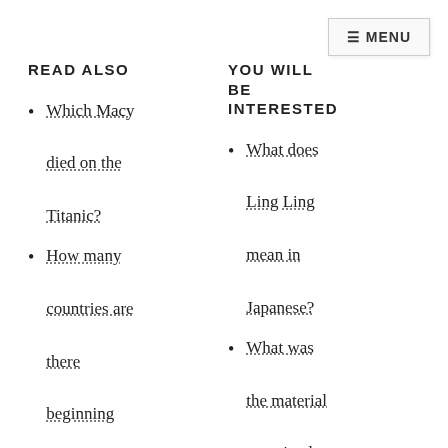≡ MENU
READ ALSO
Which Macy died on the Titanic?
How many countries are there beginning with M?
Is cars 3 a flop?
Should I buy
YOU WILL BE INTERESTED
What does Ling Ling mean in Japanese?
What was the material contained within the second nuclear